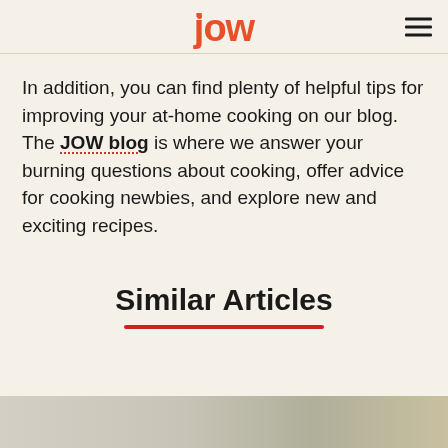jow
In addition, you can find plenty of helpful tips for improving your at-home cooking on our blog. The JOW blog is where we answer your burning questions about cooking, offer advice for cooking newbies, and explore new and exciting recipes.
Similar Articles
[Figure (photo): Partial view of a food/recipe photo at the bottom of the page]